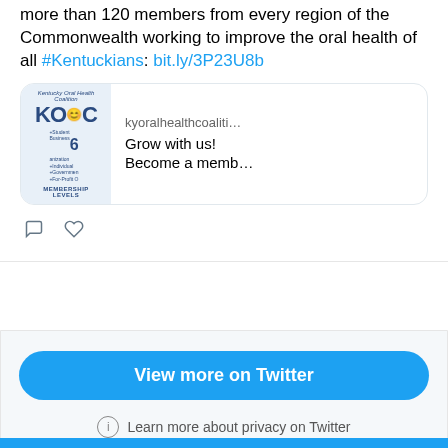more than 120 members from every region of the Commonwealth working to improve the oral health of all #Kentuckians: bit.ly/3P23U8b
[Figure (screenshot): Link preview card for kyoralhealthcoaliti... showing KOHC membership levels logo and text 'Grow with us! Become a memb...']
View more on Twitter
Learn more about privacy on Twitter